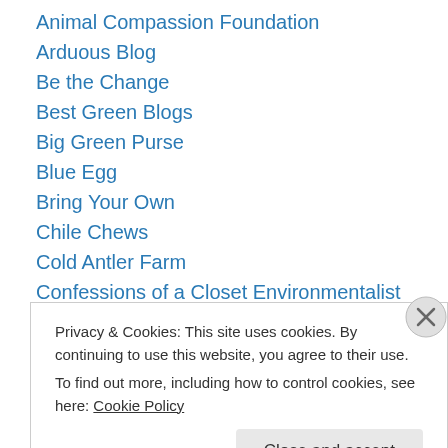Animal Compassion Foundation
Arduous Blog
Be the Change
Best Green Blogs
Big Green Purse
Blue Egg
Bring Your Own
Chile Chews
Cold Antler Farm
Confessions of a Closet Environmentalist
Crunchy Chicken
Daily Green
Do You Realize?
Privacy & Cookies: This site uses cookies. By continuing to use this website, you agree to their use.
To find out more, including how to control cookies, see here: Cookie Policy
Close and accept